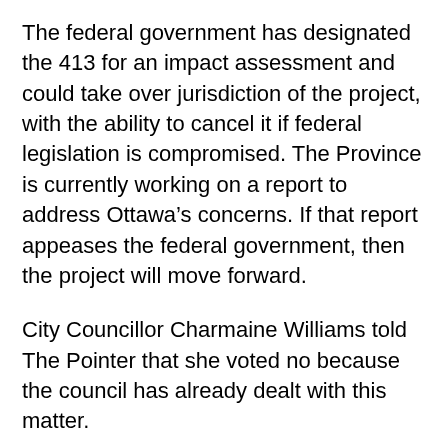The federal government has designated the 413 for an impact assessment and could take over jurisdiction of the project, with the ability to cancel it if federal legislation is compromised. The Province is currently working on a report to address Ottawa's concerns. If that report appeases the federal government, then the project will move forward.
City Councillor Charmaine Williams told The Pointer that she voted no because the council has already dealt with this matter.
“Council has already dealt with this matter and a decision was made,” she said, providing no further explanation. Williams won the nomination to represent the PCs in Brampton Centre for this June’s provincial election.